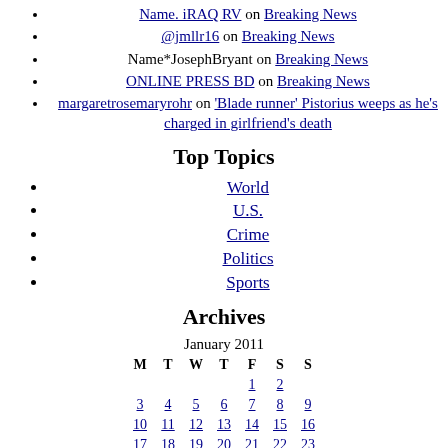Name. iRAQ RV on Breaking News
@jmllr16 on Breaking News
Name*JosephBryant on Breaking News
ONLINE PRESS BD on Breaking News
margaretrosemaryrohr on 'Blade runner' Pistorius weeps as he's charged in girlfriend's death
Top Topics
World
U.S.
Crime
Politics
Sports
Archives
January 2011
| M | T | W | T | F | S | S |
| --- | --- | --- | --- | --- | --- | --- |
|  |  |  |  | 1 | 2 |  |
| 3 | 4 | 5 | 6 | 7 | 8 | 9 |
| 10 | 11 | 12 | 13 | 14 | 15 | 16 |
| 17 | 18 | 19 | 20 | 21 | 22 | 23 |